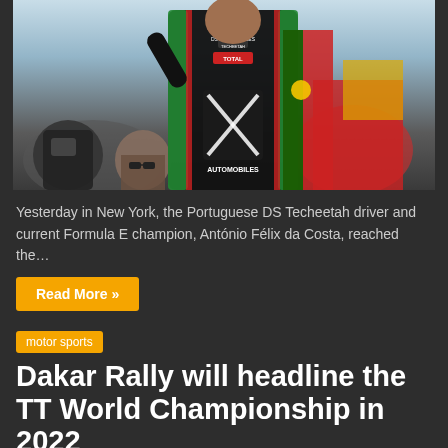[Figure (photo): Racing driver in a black DS Automobiles / DS Techeetah Formula E racing suit, celebrating with crowd and flags in background. Driver is smiling with arm raised.]
Yesterday in New York, the Portuguese DS Techeetah driver and current Formula E champion, António Félix da Costa, reached the…
Read More »
motor sports
Dakar Rally will headline the TT World Championship in 2022
June 18, 2021